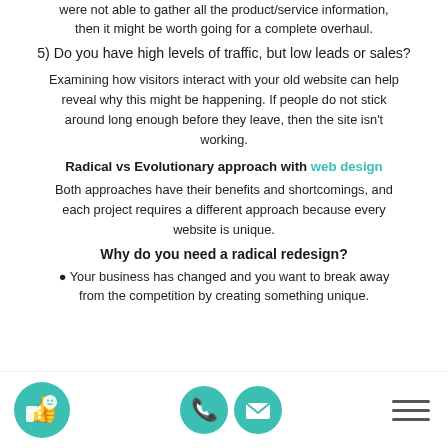were not able to gather all the product/service information, then it might be worth going for a complete overhaul.
5) Do you have high levels of traffic, but low leads or sales?
Examining how visitors interact with your old website can help reveal why this might be happening. If people do not stick around long enough before they leave, then the site isn't working.
Radical vs Evolutionary approach with web design
Both approaches have their benefits and shortcomings, and each project requires a different approach because every website is unique.
Why do you need a radical redesign?
Your business has changed and you want to break away from the competition by creating something unique.
Footer with logo, phone, email icons and menu